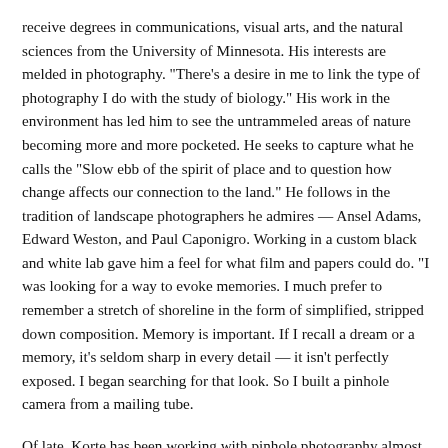receive degrees in communications, visual arts, and the natural sciences from the University of Minnesota. His interests are melded in photography. "There's a desire in me to link the type of photography I do with the study of biology." His work in the environment has led him to see the untrammeled areas of nature becoming more and more pocketed. He seeks to capture what he calls the "Slow ebb of the spirit of place and to question how change affects our connection to the land." He follows in the tradition of landscape photographers he admires — Ansel Adams, Edward Weston, and Paul Caponigro. Working in a custom black and white lab gave him a feel for what film and papers could do. "I was looking for a way to evoke memories. I much prefer to remember a stretch of shoreline in the form of simplified, stripped down composition. Memory is important. If I recall a dream or a memory, it's seldom sharp in every detail — it isn't perfectly exposed. I began searching for that look. So I built a pinhole camera from a mailing tube.
Of late, Korte has been working with pinhole photography almost exclusively, employing wooden cameras that he makes by hand. "I almost enjoy building a camera as much as doing the photography. It